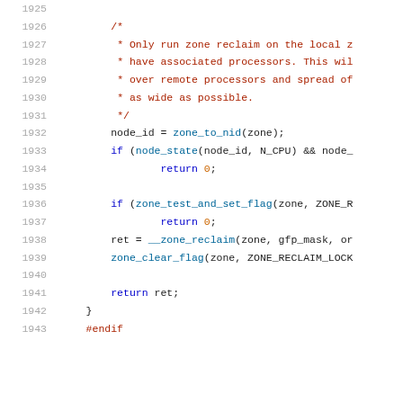Source code listing, lines 1925-1943, showing zone reclaim logic in C with line numbers, comments, and code statements.